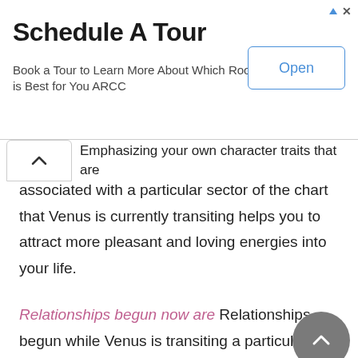[Figure (other): Advertisement banner: 'Schedule A Tour' — Book a Tour to Learn More About Which Room is Best for You ARCC, with an 'Open' button]
Emphasizing your own character traits that are associated with a particular sector of the chart that Venus is currently transiting helps you to attract more pleasant and loving energies into your life.
Relationships begun now are Relationships begun while Venus is transiting a particular sector of your chart tend to take on some of the characteristics of that sector.
Enhancing love now: Ways to improve an existing love relationship during a particular period.